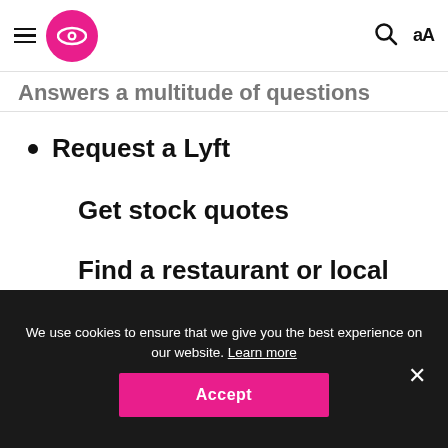Menu | Logo | Search | AA
Answers a multitude of questions
Request a Lyft
Get stock quotes
Find a restaurant or local business
Turn on the lights
We use cookies to ensure that we give you the best experience on our website. Learn more
Accept